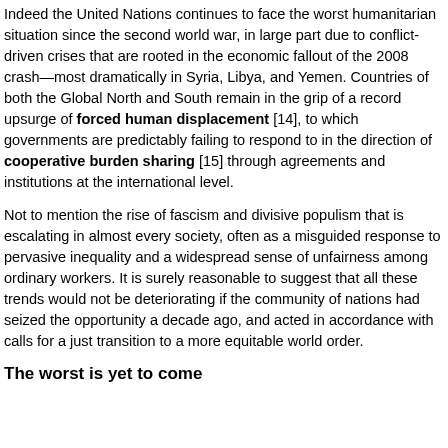Indeed the United Nations continues to face the worst humanitarian situation since the second world war, in large part due to conflict-driven crises that are rooted in the economic fallout of the 2008 crash—most dramatically in Syria, Libya, and Yemen. Countries of both the Global North and South remain in the grip of a record upsurge of forced human displacement [14], to which governments are predictably failing to respond to in the direction of cooperative burden sharing [15] through agreements and institutions at the international level.
Not to mention the rise of fascism and divisive populism that is escalating in almost every society, often as a misguided response to pervasive inequality and a widespread sense of unfairness among ordinary workers. It is surely reasonable to suggest that all these trends would not be deteriorating if the community of nations had seized the opportunity a decade ago, and acted in accordance with calls for a just transition to a more equitable world order.
The worst is yet to come